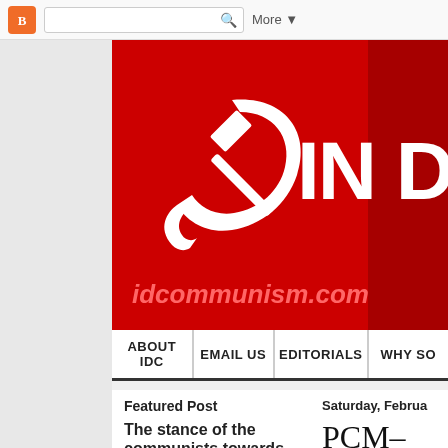[Figure (screenshot): Blogger navigation bar at top with orange Blogger icon, search box, and More dropdown button]
[Figure (logo): Red banner with white hammer and sickle communist symbol on the left and large white text 'IN D' on the right, with idcommunism.com URL in pink italic text at the bottom]
ABOUT IDC | EMAIL US | EDITORIALS | WHY SO
Featured Post
The stance of the communists towards
Saturday, Februa
PCM-PC